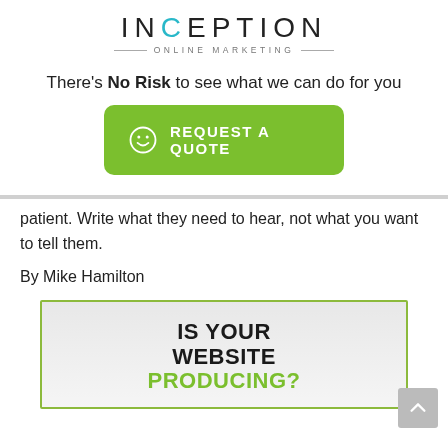[Figure (logo): Inception Online Marketing logo with teal accent on letter C]
There's No Risk to see what we can do for you
[Figure (other): Green REQUEST A QUOTE button with smiley face icon]
patient.  Write what they need to hear, not what you want to tell them.
By Mike Hamilton
[Figure (infographic): IS YOUR WEBSITE PRODUCING? promotional box with green border]